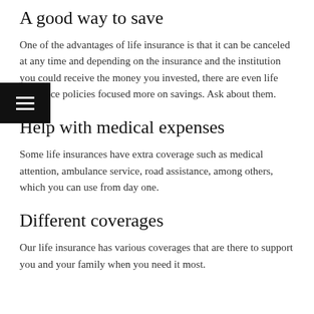A good way to save
One of the advantages of life insurance is that it can be canceled at any time and depending on the insurance and the institution you could receive the money you invested, there are even life insurance policies focused more on savings. Ask about them.
Help with medical expenses
Some life insurances have extra coverage such as medical attention, ambulance service, road assistance, among others, which you can use from day one.
Different coverages
Our life insurance has various coverages that are there to support you and your family when you need it most.